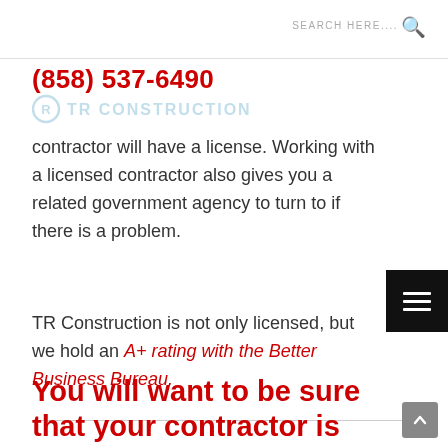SEARCH HERE....
(858) 537-6490
[Figure (logo): RTR Construction logo in light blue]
contractor will have a license. Working with a licensed contractor also gives you a related government agency to turn to if there is a problem.
TR Construction is not only licensed, but we hold an A+ rating with the Better Business Bureau.
You will want to be sure that your contractor is insured.